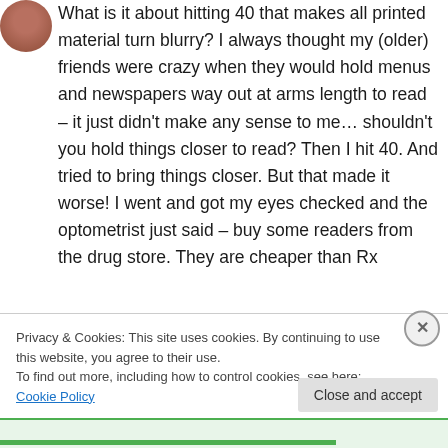[Figure (photo): Small circular avatar photo of a person with dark hair]
What is it about hitting 40 that makes all printed material turn blurry? I always thought my (older) friends were crazy when they would hold menus and newspapers way out at arms length to read – it just didn't make any sense to me… shouldn't you hold things closer to read? Then I hit 40. And tried to bring things closer. But that made it worse! I went and got my eyes checked and the optometrist just said – buy some readers from the drug store. They are cheaper than Rx
Privacy & Cookies: This site uses cookies. By continuing to use this website, you agree to their use.
To find out more, including how to control cookies, see here: Cookie Policy